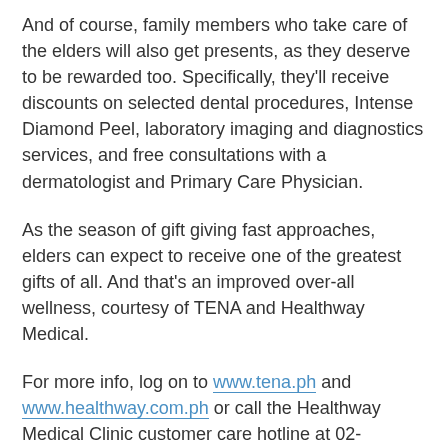And of course, family members who take care of the elders will also get presents, as they deserve to be rewarded too. Specifically, they'll receive discounts on selected dental procedures, Intense Diamond Peel, laboratory imaging and diagnostics services, and free consultations with a dermatologist and Primary Care Physician.
As the season of gift giving fast approaches, elders can expect to receive one of the greatest gifts of all. And that's an improved over-all wellness, courtesy of TENA and Healthway Medical.
For more info, log on to www.tena.ph and www.healthway.com.ph or call the Healthway Medical Clinic customer care hotline at 02-7514929 or SCA Hygiene Products Corp. Philippines at 02-5562405.
RunningAtom at 11/08/2013 10:06:00 PM
1 comment: